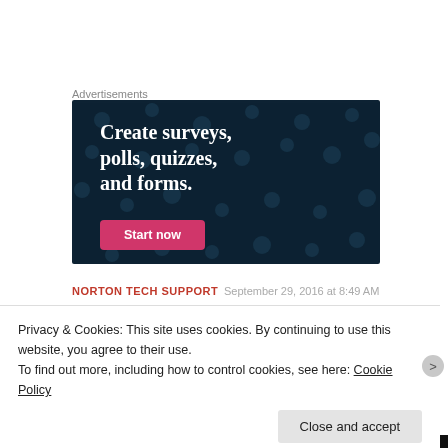Advertisements
[Figure (illustration): Advertisement banner with dark navy background with faint dot pattern. Large white serif bold text reads: 'Create surveys, polls, quizzes, and forms.' A pink/magenta 'Start now' button is at the bottom left.]
NORTON TECH SUPPORT   September 29, 2016 at 8:49 AM
Privacy & Cookies: This site uses cookies. By continuing to use this website, you agree to their use.
To find out more, including how to control cookies, see here: Cookie Policy
Close and accept